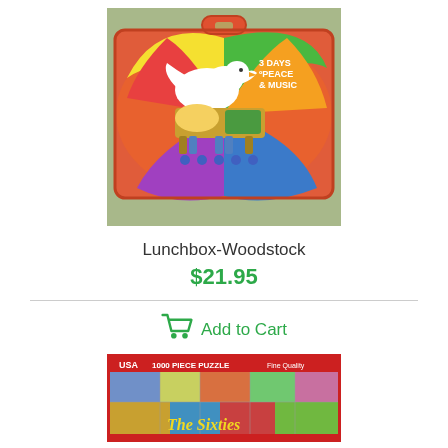[Figure (photo): Woodstock lunchbox with tie-dye background, white dove, and '3 Days of Peace & Music' text]
Lunchbox-Woodstock
$21.95
Add to Cart
[Figure (photo): The Sixties 1000 piece puzzle box from USAopoly with retro 1960s imagery]